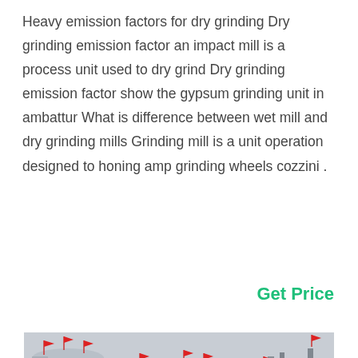Heavy emission factors for dry grinding Dry grinding emission factor an impact mill is a process unit used to dry grind Dry grinding emission factor show the gypsum grinding unit in ambattur What is difference between wet mill and dry grinding mills Grinding mill is a unit operation designed to honing amp grinding wheels cozzini .
Get Price
[Figure (photo): Industrial facility with large cylindrical silos/tanks and structural frameworks, red flags visible on top of structures, gray sky background.]